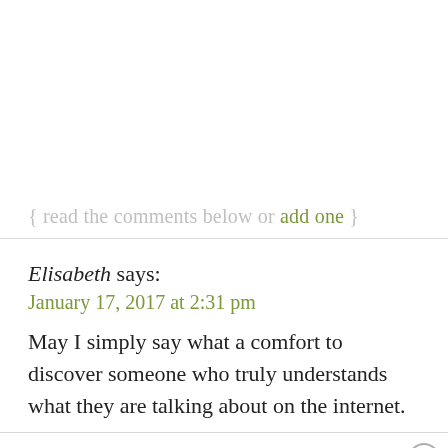{ read the comments below or add one }
Elisabeth says:
January 17, 2017 at 2:31 pm
May I simply say what a comfort to discover someone who truly understands what they are talking about on the internet.
You actually know how to bring a problem to light and make it important. More people must check this